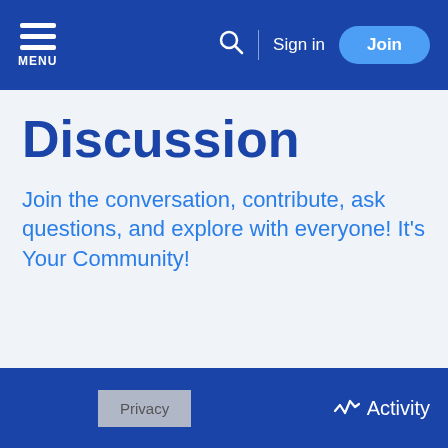MENU | Search | Sign in | Join
Discussion
Join the conversation, contribute, ask questions, and explore with everyone! It's Your Community!
Privacy | Activity